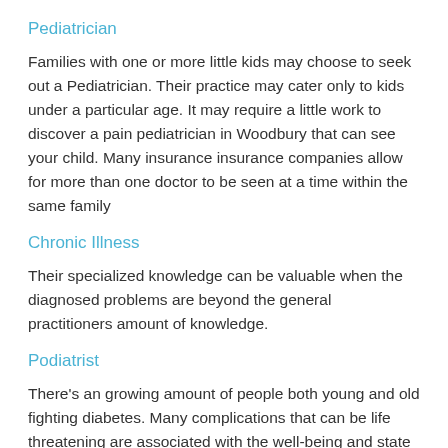Pediatrician
Families with one or more little kids may choose to seek out a Pediatrician. Their practice may cater only to kids under a particular age. It may require a little work to discover a pain pediatrician in Woodbury that can see your child. Many insurance insurance companies allow for more than one doctor to be seen at a time within the same family
Chronic Illness
Their specialized knowledge can be valuable when the diagnosed problems are beyond the general practitioners amount of knowledge.
Podiatrist
There’s an growing amount of people both young and old fighting diabetes. Many complications that can be life threatening are associated with the well-being and state of your feet. Seeing a podiatrist regularly assess the well-being